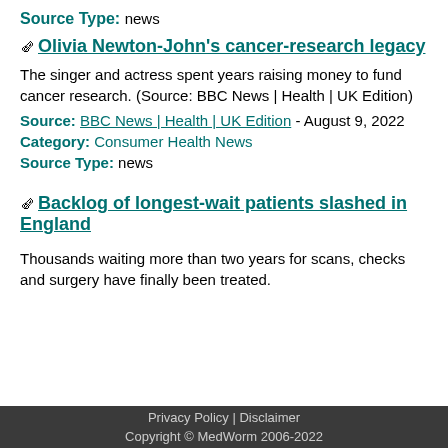Source Type: news
Olivia Newton-John's cancer-research legacy
The singer and actress spent years raising money to fund cancer research. (Source: BBC News | Health | UK Edition)
Source: BBC News | Health | UK Edition - August 9, 2022 Category: Consumer Health News Source Type: news
Backlog of longest-wait patients slashed in England
Thousands waiting more than two years for scans, checks and surgery have finally been treated.
Privacy Policy | Disclaimer
Copyright © MedWorm 2006-2022